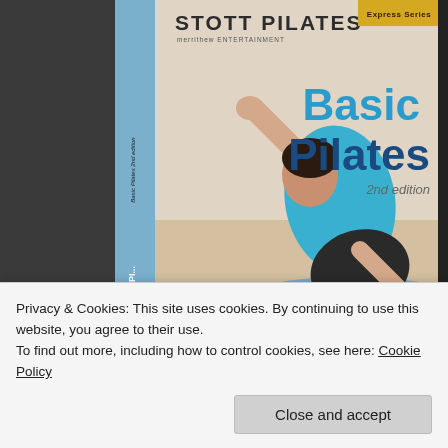[Figure (photo): STOTT PILATES DVD cover showing 'Basic Pilates 2nd edition' with a woman in a blue top performing a side stretch on a blue mat. The DVD spine is visible on the left side. An Express Series badge appears in the top right corner. The merrithew entertainment logo appears under the STOTT PILATES logo.]
Privacy & Cookies: This site uses cookies. By continuing to use this website, you agree to their use.
To find out more, including how to control cookies, see here: Cookie Policy
Close and accept